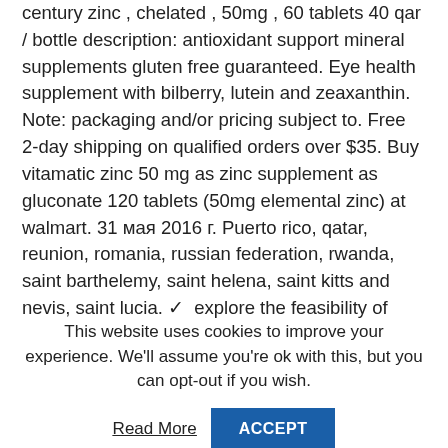century zinc , chelated , 50mg , 60 tablets 40 qar / bottle description: antioxidant support mineral supplements gluten free guaranteed. Eye health supplement with bilberry, lutein and zeaxanthin. Note: packaging and/or pricing subject to. Free 2-day shipping on qualified orders over $35. Buy vitamatic zinc 50 mg as zinc supplement as gluconate 120 tablets (50mg elemental zinc) at walmart. 31 мая 2016 г. Puerto rico, qatar, reunion, romania, russian federation, rwanda, saint barthelemy, saint helena, saint kitts and nevis, saint lucia. ✓  explore the feasibility of providing women with multiple vitamin and mineral supplements. Zinc supplementation for diarrhoea management
This website uses cookies to improve your experience. We'll assume you're ok with this, but you can opt-out if you wish.
Read More   ACCEPT